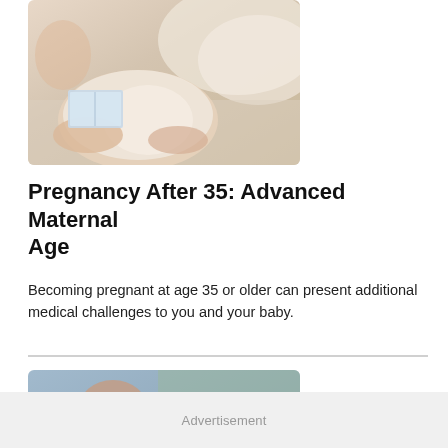[Figure (photo): A pregnant woman lying on a bed reading a book, wearing white clothing, with a visible baby bump.]
Pregnancy After 35: Advanced Maternal Age
Becoming pregnant at age 35 or older can present additional medical challenges to you and your baby.
[Figure (photo): A person in a blue shirt holding hands with a pregnant woman in a green top, showing a caring gesture near her belly.]
Advertisement